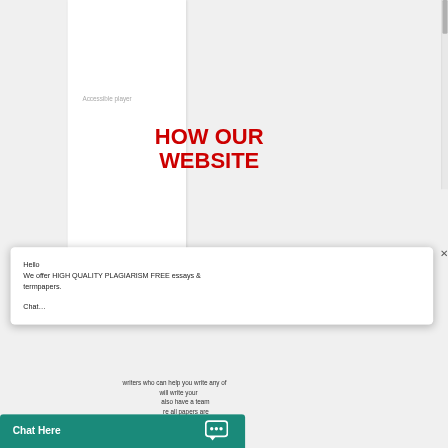Accessible player
HOW OUR WEBSITE
[Figure (screenshot): Chat popup overlay with text: Hello, We offer HIGH QUALITY PLAGIARISM FREE essays & termpapers. Chat...]
Hello
We offer HIGH QUALITY PLAGIARISM FREE essays & termpapers.
Chat...
writers who can help you write any of
will write your
also have a team
re all papers are
Chat Here